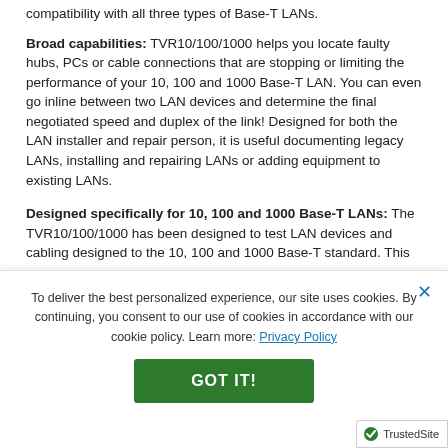compatibility with all three types of Base-T LANs.
Broad capabilities: TVR10/100/1000 helps you locate faulty hubs, PCs or cable connections that are stopping or limiting the performance of your 10, 100 and 1000 Base-T LAN. You can even go inline between two LAN devices and determine the final negotiated speed and duplex of the link! Designed for both the LAN installer and repair person, it is useful documenting legacy LANs, installing and repairing LANs or adding equipment to existing LANs.
Designed specifically for 10, 100 and 1000 Base-T LANs: The TVR10/100/1000 has been designed to test LAN devices and cabling designed to the 10, 100 and 1000 Base-T standard. This
To deliver the best personalized experience, our site uses cookies. By continuing, you consent to our use of cookies in accordance with our cookie policy. Learn more: Privacy Policy
GOT IT!